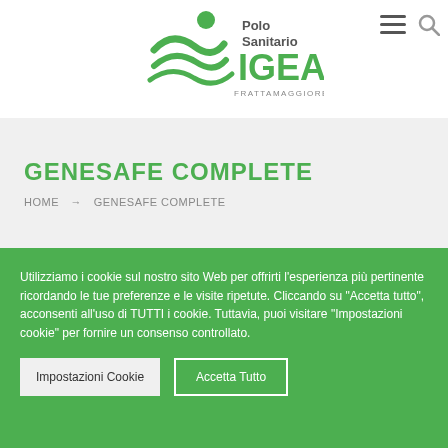[Figure (logo): Polo Sanitario IGEA Frattamaggiore logo — green figure with waves and green IGEA text]
GENESAFE COMPLETE
HOME → GENESAFE COMPLETE
Utilizziamo i cookie sul nostro sito Web per offrirti l'esperienza più pertinente ricordando le tue preferenze e le visite ripetute. Cliccando su "Accetta tutto", acconsenti all'uso di TUTTI i cookie. Tuttavia, puoi visitare "Impostazioni cookie" per fornire un consenso controllato.
Impostazioni Cookie | Accetta Tutto